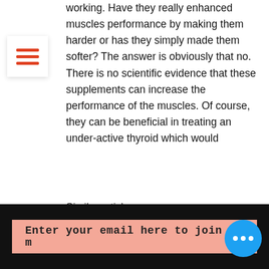[Figure (other): Hamburger menu icon with three red horizontal lines on white background]
working. Have they really enhanced muscles performance by making them harder or has they simply made them softer? The answer is obviously that no. There is no scientific evidence that these supplements can increase the performance of the muscles. Of course, they can be beneficial in treating an under-active thyroid which would
Similar articles:
https://www.bonappetitfrenchbakery.com/profile/gennyruppert2004/profile
https://www.thefamilyroomvt.org/profile/micaelabidez1982/profile
https://forum.prokfa.go.th/community/profile/gsarms19672395/
https://www.thevalleystarnews.com/profile/orlandorelacion1987/profile
[Figure (other): Black footer bar with salmon/coral email input field and blue chat bubble with three dots]